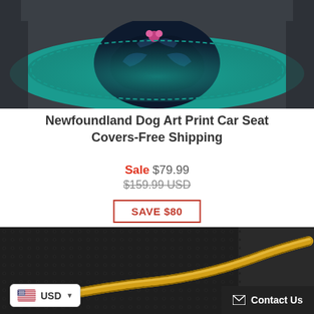[Figure (photo): Car seat with a Newfoundland Dog Art Print cover, teal/dark blue color scheme, dog portrait visible on the seat cushion inside a vehicle interior]
Newfoundland Dog Art Print Car Seat Covers-Free Shipping
Sale $79.99
$159.99 USD
SAVE $80
[Figure (photo): Close-up of a gold snake chain necklace on a dark leather/textured surface]
USD
Contact Us